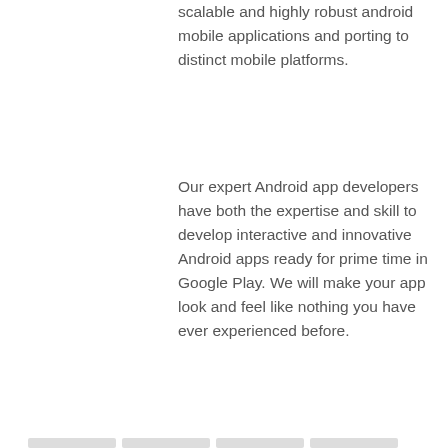scalable and highly robust android mobile applications and porting to distinct mobile platforms.
Our expert Android app developers have both the expertise and skill to develop interactive and innovative Android apps ready for prime time in Google Play. We will make your app look and feel like nothing you have ever experienced before.